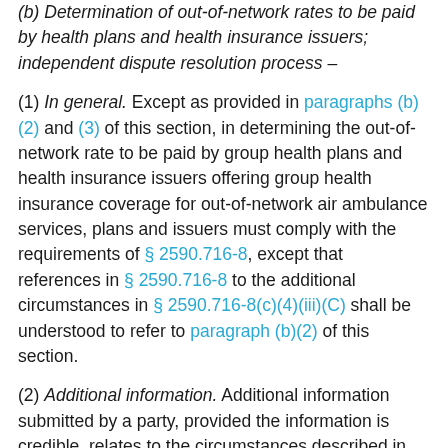(b) Determination of out-of-network rates to be paid by health plans and health insurance issuers; independent dispute resolution process –
(1) In general. Except as provided in paragraphs (b)(2) and (3) of this section, in determining the out-of-network rate to be paid by group health plans and health insurance issuers offering group health insurance coverage for out-of-network air ambulance services, plans and issuers must comply with the requirements of § 2590.716-8, except that references in § 2590.716-8 to the additional circumstances in § 2590.716-8(c)(4)(iii)(C) shall be understood to refer to paragraph (b)(2) of this section.
(2) Additional information. Additional information submitted by a party, provided the information is credible, relates to the circumstances described in paragraphs (b)(2)(i) through (vi) of this section, with